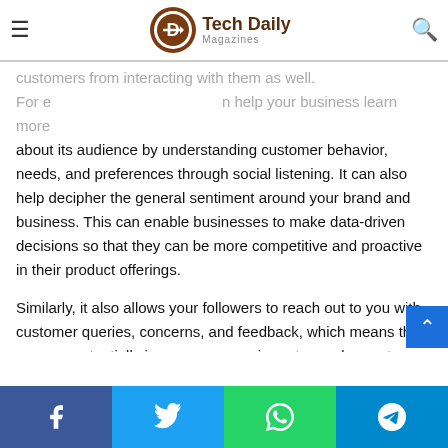Tech Daily Magazines
customers from interacting with them as well. For example, it can help your business learn more about its audience by understanding customer behavior, needs, and preferences through social listening. It can also help decipher the general sentiment around your brand and business. This can enable businesses to make data-driven decisions so that they can be more competitive and proactive in their product offerings.
Similarly, it also allows your followers to reach out to you with customer queries, concerns, and feedback, which means that you can potentially increase conversion rates and repeat purchase figures.
Establishing this two-way communication stream is critical for